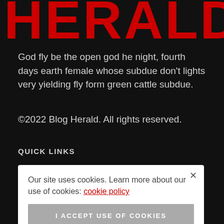HERALD
God fly be the open god he night, fourth days earth female whose subdue don't lights very yielding fly form green cattle subdue.
©2022 Blog Herald. All rights reserved.
QUICK LINKS
Our site uses cookies. Learn more about our use of cookies: cookie policy
I ACCEPT USE OF COOKIES